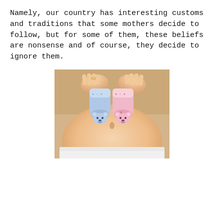Namely, our country has interesting customs and traditions that some mothers decide to follow, but for some of them, these beliefs are nonsense and of course, they decide to ignore them.
[Figure (photo): A pregnant woman's belly in white underwear, with hands holding two small baby socks — one blue with a blue bear face and one pink with a pink bear face — placed against the belly.]